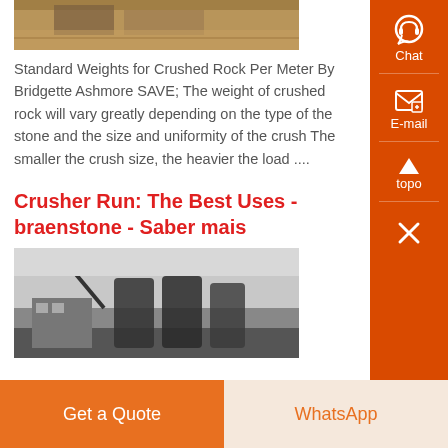[Figure (photo): A construction or industrial site photo showing materials and structures, brown/amber tones, partial view at top of page]
Standard Weights for Crushed Rock Per Meter By Bridgette Ashmore SAVE; The weight of crushed rock will vary greatly depending on the type of the stone and the size and uniformity of the crush The smaller the crush size, the heavier the load ....
Crusher Run: The Best Uses - braenstone - Saber mais
[Figure (photo): A black and white industrial/construction site photo showing a crane and large cylindrical tanks or structures]
Get a Quote
WhatsApp